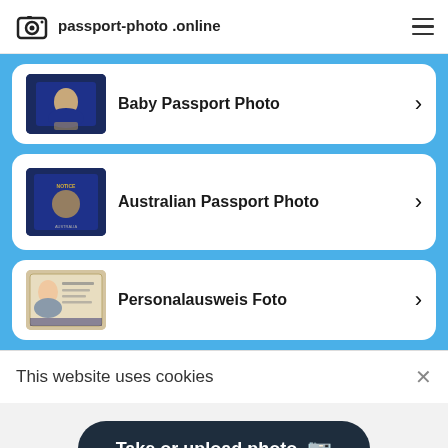passport-photo.online
Baby Passport Photo
Australian Passport Photo
Personalausweis Foto
This website uses cookies
Take or upload photo 📷